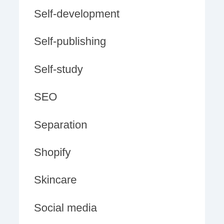Self-development
Self-publishing
Self-study
SEO
Separation
Shopify
Skincare
Social media
Stock market
Stop drinking
Survivors
Sustainable living